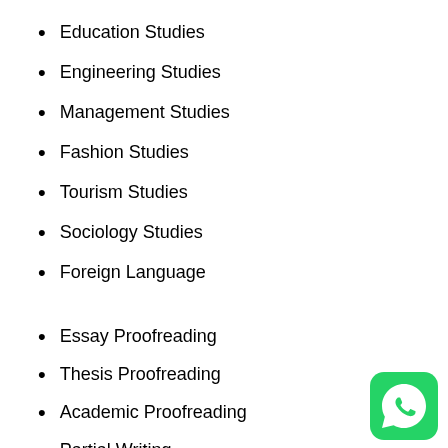Education Studies
Engineering Studies
Management Studies
Fashion Studies
Tourism Studies
Sociology Studies
Foreign Language
Essay Proofreading
Thesis Proofreading
Academic Proofreading
Partial Writing
Partial Editing
Essay Re-writing
[Figure (logo): WhatsApp green icon with phone handset symbol, rounded square corners]